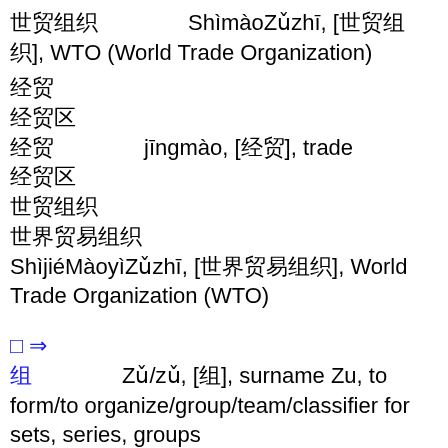世贸组织  ShìmàoZǔzhī, [世贸组织], WTO (World Trade Organization)
经贸
经贸区
经贸  jīngmào, [经贸], trade
经贸区
世贸组织
世界贸易组织  ShìjiéMàoyìZǔzhī, [世界贸易组织], World Trade Organization (WTO)
◎ ⇒
组  Zǔ/zǔ, [组], surname Zu, to form/to organize/group/team/classifier for sets, series, groups
组织  zǔzhī, [组织], to organize/organization/(biology) tissue/(textiles) weave/CL:个|個[gè]
小组  xiǎozǔ, [小组], group
组合  zǔhé, [组合], to assemble/to combine/to